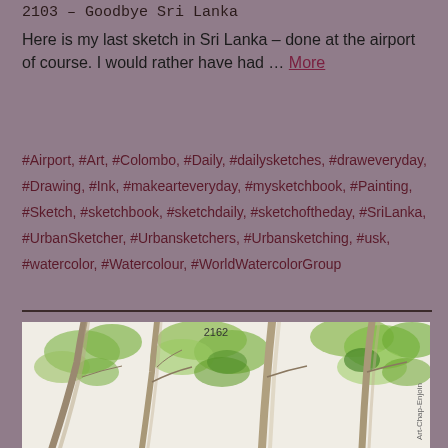2103 – Goodbye Sri Lanka
Here is my last sketch in Sri Lanka – done at the airport of course. I would rather have had … More
#Airport, #Art, #Colombo, #Daily, #dailysketches, #draweveryday, #Drawing, #Ink, #makearteveryday, #mysketchbook, #Painting, #Sketch, #sketchbook, #sketchdaily, #sketchoftheday, #SriLanka, #UrbanSketcher, #Urbansketchers, #Urbansketching, #usk, #watercolor, #Watercolour, #WorldWatercolorGroup
[Figure (illustration): Watercolor and ink sketch of trees with green foliage and bare branches, labeled '2162' at top center, with watermark 'Art-Chap-Enjoin' on the right side]